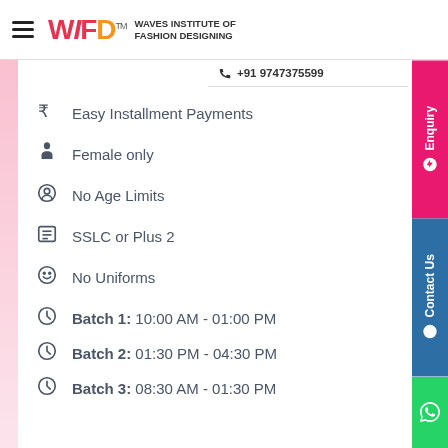WIFD™ WAVES INSTITUTE OF FASHION DESIGNING
Easy Installment Payments
Female only
No Age Limits
SSLC or Plus 2
No Uniforms
Batch 1: 10:00 AM - 01:00 PM
Batch 2: 01:30 PM - 04:30 PM
Batch 3: 08:30 AM - 01:30 PM